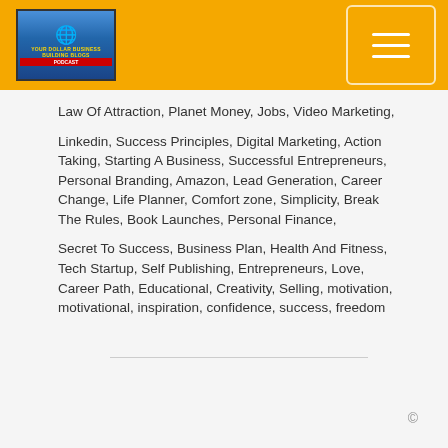Logo and navigation header
Law Of Attraction, Planet Money, Jobs, Video Marketing,
Linkedin, Success Principles, Digital Marketing, Action Taking, Starting A Business, Successful Entrepreneurs, Personal Branding, Amazon, Lead Generation, Career Change, Life Planner, Comfort zone, Simplicity, Break The Rules, Book Launches, Personal Finance,
Secret To Success, Business Plan, Health And Fitness, Tech Startup, Self Publishing, Entrepreneurs, Love, Career Path, Educational, Creativity, Selling, motivation, motivational, inspiration, confidence, success, freedom